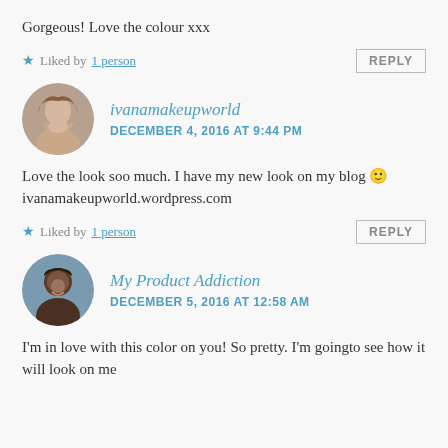Gorgeous! Love the colour xxx
Liked by 1 person
ivanamakeupworld
DECEMBER 4, 2016 AT 9:44 PM
Love the look soo much. I have my new look on my blog 🙂 ivanamakeupworld.wordpress.com
Liked by 1 person
My Product Addiction
DECEMBER 5, 2016 AT 12:58 AM
I'm in love with this color on you! So pretty. I'm goingto see how it will look on me